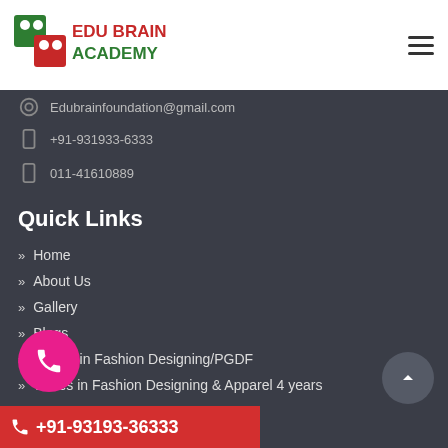[Figure (logo): Edu Brain Academy logo with red/green 'BB' icon and bold text]
Edubrainfoundation@gmail.com
+91-931933-6333
011-41610889
Quick Links
» Home
» About Us
» Gallery
» Blogs
» M.Des in Fashion Designing/PGDF
» B.Des in Fashion Designing & Apparel 4 years
+91-93193-36333